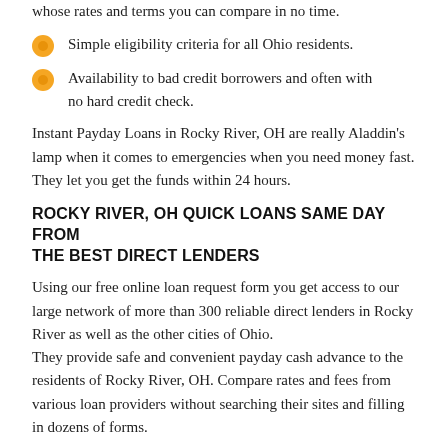whose rates and terms you can compare in no time.
Simple eligibility criteria for all Ohio residents.
Availability to bad credit borrowers and often with no hard credit check.
Instant Payday Loans in Rocky River, OH are really Aladdin's lamp when it comes to emergencies when you need money fast. They let you get the funds within 24 hours.
ROCKY RIVER, OH QUICK LOANS SAME DAY FROM THE BEST DIRECT LENDERS
Using our free online loan request form you get access to our large network of more than 300 reliable direct lenders in Rocky River as well as the other cities of Ohio. They provide safe and convenient payday cash advance to the residents of Rocky River, OH. Compare rates and fees from various loan providers without searching their sites and filling in dozens of forms.
The 24-hour loan application process is fast, easy, and safe. You just need to choose the loan amount and fill out all the